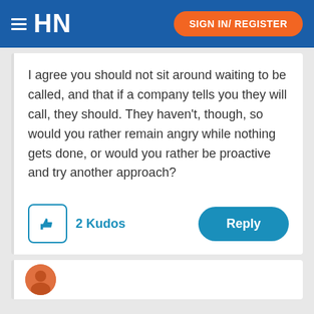HN  SIGN IN/ REGISTER
I agree you should not sit around waiting to be called, and that if a company tells you they will call, they should.  They haven't, though, so would you rather remain angry while nothing gets done, or would you rather be proactive and try another approach?
2 Kudos
Reply